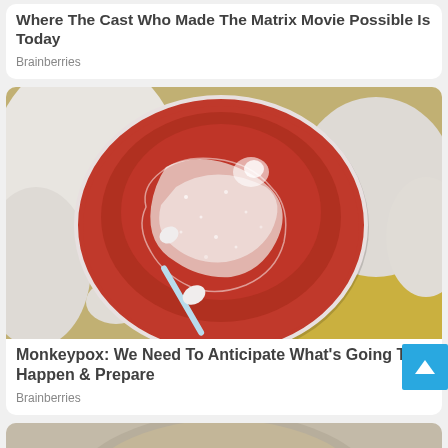Where The Cast Who Made The Matrix Movie Possible Is Today
Brainberries
[Figure (photo): Gloved hands holding a red blood agar petri dish with bacterial cultures, being swabbed with a white cotton swab against a yellow blurred background]
Monkeypox: We Need To Anticipate What's Going To Happen & Prepare
Brainberries
[Figure (photo): Partial view of a person's head with blonde/grey hair, cropped at top of page]